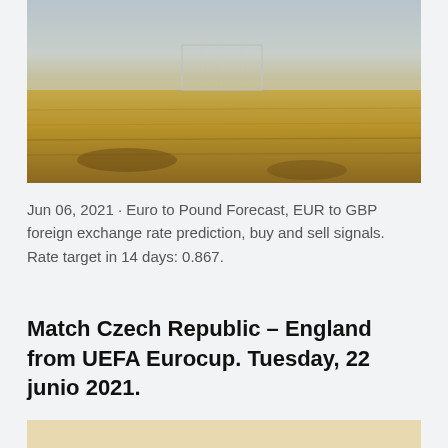[Figure (photo): A foggy landscape showing a football/soccer goal on a dry yellow-brown grass field with a grey misty sky]
Jun 06, 2021 · Euro to Pound Forecast, EUR to GBP foreign exchange rate prediction, buy and sell signals. Rate target in 14 days: 0.867.
Match Czech Republic – England from UEFA Eurocup. Tuesday, 22 junio 2021.
[Figure (photo): Partial view of a second image, showing a light beige/cream colored surface, cropped at the bottom of the page]